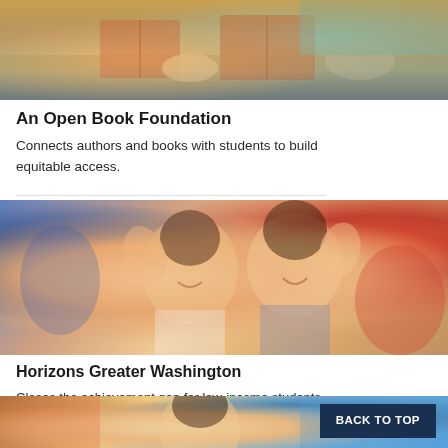[Figure (photo): Children's hands holding books at a table, overhead view]
An Open Book Foundation
Connects authors and books with students to build equitable access.
[Figure (photo): Two young children smiling and waving their hands at the camera in a classroom setting]
Horizons Greater Washington
Closes the achievement gap for low-income students through enrichment programs.
[Figure (photo): Young boy looking upward in a colorful classroom]